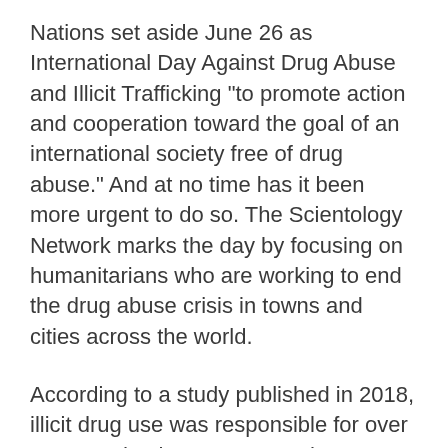Nations set aside June 26 as International Day Against Drug Abuse and Illicit Trafficking "to promote action and cooperation toward the goal of an international society free of drug abuse." And at no time has it been more urgent to do so. The Scientology Network marks the day by focusing on humanitarians who are working to end the drug abuse crisis in towns and cities across the world.
According to a study published in 2018, illicit drug use was responsible for over 750,000 deaths per year. In the U.S. alone, Centers for Disease Control and Prevention indicate that more than 105,000 lives were lost due to overdose in 2021. Little wonder that the United Nations Office of Drugs and Crime (UNODC) is calling for "urgent action to protect people, including by strengthening drug use…